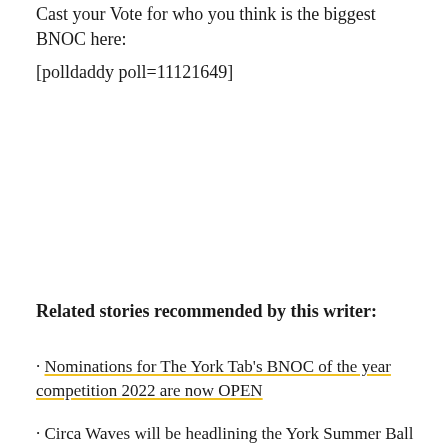Cast your Vote for who you think is the biggest BNOC here:
[polldaddy poll=11121649]
Related stories recommended by this writer:
· Nominations for The York Tab's BNOC of the year competition 2022 are now OPEN
· Circa Waves will be headlining the York Summer Ball this